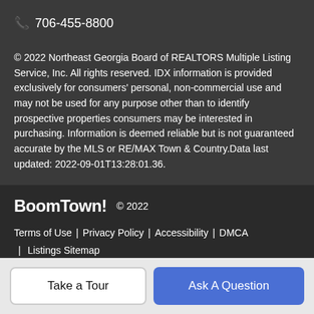📞 706-455-8800
© 2022 Northeast Georgia Board of REALTORS Multiple Listing Service, Inc. All rights reserved. IDX information is provided exclusively for consumers' personal, non-commercial use and may not be used for any purpose other than to identify prospective properties consumers may be interested in purchasing. Information is deemed reliable but is not guaranteed accurate by the MLS or RE/MAX Town & Country.Data last updated: 2022-09-01T13:28:01.36.
BoomTown! © 2022
Terms of Use | Privacy Policy | Accessibility | DMCA | Listings Sitemap
Take a Tour
Ask A Question